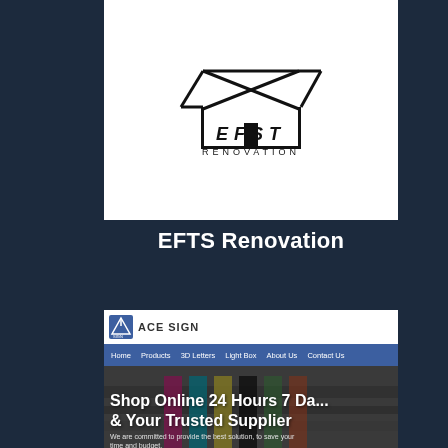[Figure (logo): EFTS Renovation logo — geometric house/roof outline with crossed lines, text 'EFST RENOVATION' below in stylized font]
EFTS Renovation
[Figure (screenshot): Screenshot of ACE SIGN website showing navigation bar (Home, Products, 3D Letters, Light Box, About Us, Contact Us) and hero section with text 'Shop Online 24 Hours 7 Da... & Your Trusted Supplier' and subtext 'We are committed to provide the best solution, to save your time and budget.']